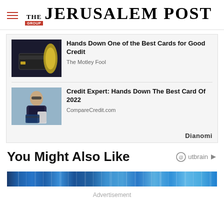THE JERUSALEM POST
[Figure (photo): Ad thumbnail: credit card with gold hand statue on dark background]
Hands Down One of the Best Cards for Good Credit
The Motley Fool
[Figure (photo): Ad thumbnail: woman with sunglasses holding phone and credit card]
Credit Expert: Hands Down The Best Card Of 2022
CompareCredit.com
Dianomi
You Might Also Like
Outbrain
[Figure (other): Blue striped advertisement banner placeholder]
Advertisement